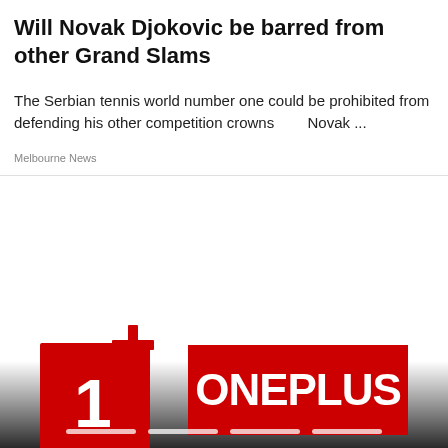Will Novak Djokovic be barred from other Grand Slams
The Serbian tennis world number one could be prohibited from defending his other competition crowns        Novak ...
Melbourne News
[Figure (logo): OnePlus brand logo: red square icon with the number 1 and a plus symbol on the left, and the word ONEPLUS in white on a red rectangle on the right. Image has a gradient background from white to dark grey/black at bottom. Four white carousel indicator dots at bottom.]